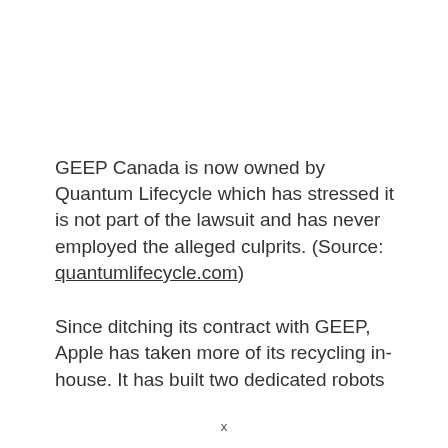GEEP Canada is now owned by Quantum Lifecycle which has stressed it is not part of the lawsuit and has never employed the alleged culprits. (Source: quantumlifecycle.com)
Since ditching its contract with GEEP, Apple has taken more of its recycling in-house. It has built two dedicated robots
x